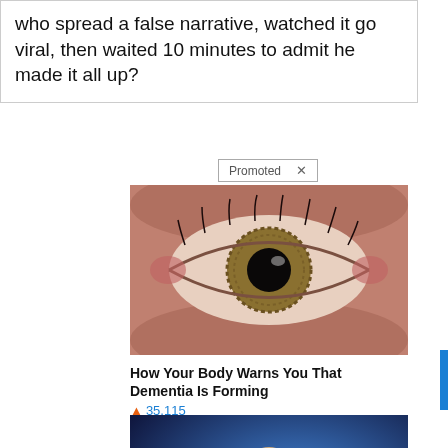who spread a false narrative, watched it go viral, then waited 10 minutes to admit he made it all up?
Promoted ×
[Figure (photo): Close-up photo of a human eye with hazel/green iris and reddish skin around it]
How Your Body Warns You That Dementia Is Forming
🔥 35,115
[Figure (photo): Video thumbnail showing an older bald man in a dark suit with red tie speaking at a podium against a blue background, with a play button overlay]
Overlooked Message In The Bible Democrats Want Banned
🔥 139,115